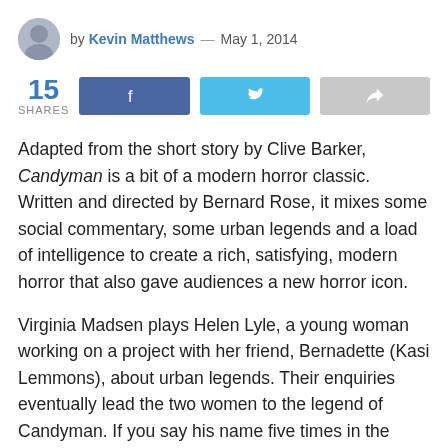by Kevin Matthews — May 1, 2014
[Figure (infographic): Social share bar showing 15 shares, Facebook share button, Twitter share button, and a generic share button]
Adapted from the short story by Clive Barker, Candyman is a bit of a modern horror classic. Written and directed by Bernard Rose, it mixes some social commentary, some urban legends and a load of intelligence to create a rich, satisfying, modern horror that also gave audiences a new horror icon.
Virginia Madsen plays Helen Lyle, a young woman working on a project with her friend, Bernadette (Kasi Lemmons), about urban legends. Their enquiries eventually lead the two women to the legend of Candyman. If you say his name five times in the mirror then he will appear to deliver death. This happened to a